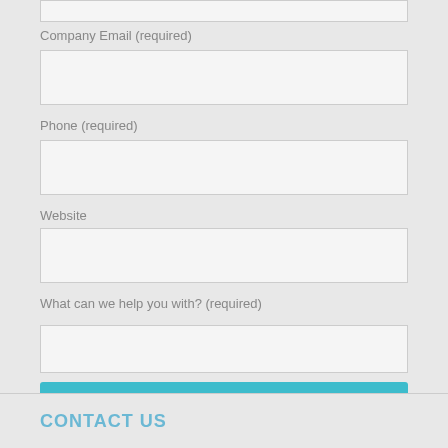Company Email (required)
Phone (required)
Website
What can we help you with? (required)
CONTACT US